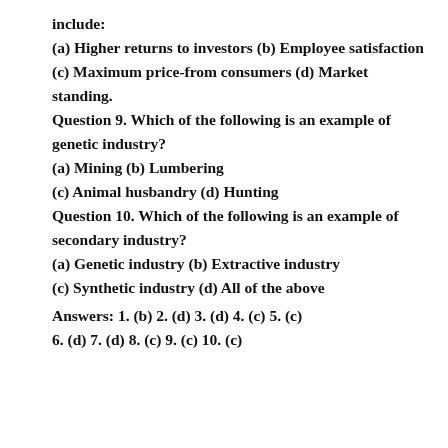include:
(a) Higher returns to investors (b) Employee satisfaction
(c) Maximum price-from consumers (d) Market standing.
Question 9. Which of the following is an example of genetic industry?
(a) Mining (b) Lumbering
(c) Animal husbandry (d) Hunting
Question 10. Which of the following is an example of secondary industry?
(a) Genetic industry (b) Extractive industry
(c) Synthetic industry (d) All of the above
Answers: 1. (b) 2. (d) 3. (d) 4. (c) 5. (c) 6. (d) 7. (d) 8. (c) 9. (c) 10. (c)